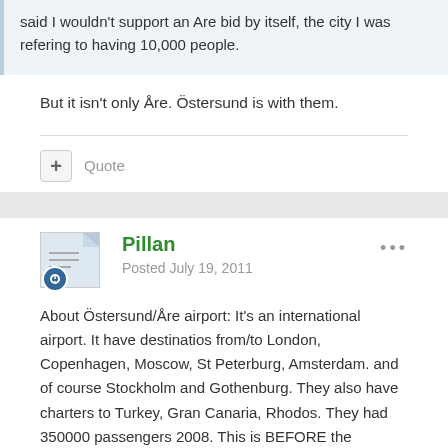said I wouldn't support an Are bid by itself, the city I was refering to having 10,000 people.
But it isn't only Åre. Östersund is with them.
Quote
Pillan
Posted July 19, 2011
About Östersund/Åre airport: It's an international airport. It have destinatios from/to London, Copenhagen, Moscow, St Peterburg, Amsterdam. and of course Stockholm and Gothenburg. They also have charters to Turkey, Gran Canaria, Rhodos. They had 350000 passengers 2008. This is BEFORE the upgrade to an eventual WOG!! Without that Sweden has excellent railway.